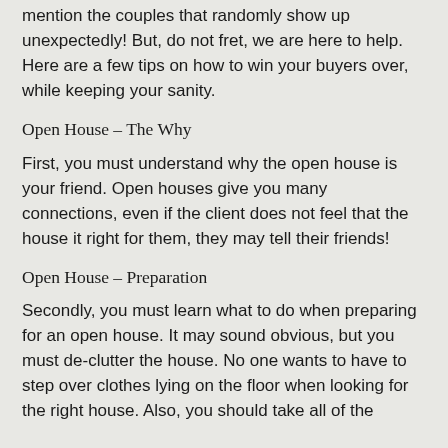mention the couples that randomly show up unexpectedly! But, do not fret, we are here to help. Here are a few tips on how to win your buyers over, while keeping your sanity.
Open House – The Why
First, you must understand why the open house is your friend. Open houses give you many connections, even if the client does not feel that the house it right for them, they may tell their friends!
Open House – Preparation
Secondly, you must learn what to do when preparing for an open house. It may sound obvious, but you must de-clutter the house. No one wants to have to step over clothes lying on the floor when looking for the right house. Also, you should take all of the